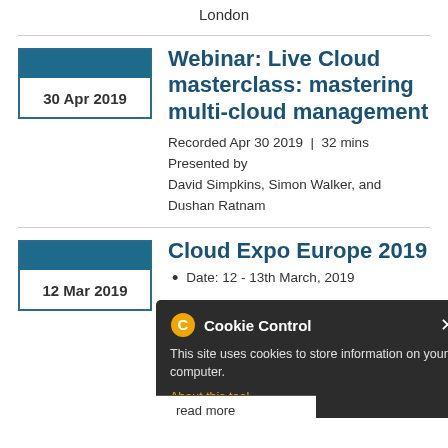London
[Figure (other): Calendar icon showing date 30 Apr 2019]
Webinar: Live Cloud masterclass: mastering multi-cloud management
Recorded Apr 30 2019 | 32 mins
Presented by
David Simpkins, Simon Walker, and Dushan Ratnam
[Figure (other): Calendar icon showing date 12 Mar 2019]
Cloud Expo Europe 2019
Date: 12 - 13th March, 2019
[Figure (screenshot): Cookie Control popup overlay: 'This site uses cookies to store information on your computer.' with 'About this tool' link and 'read more' button.]